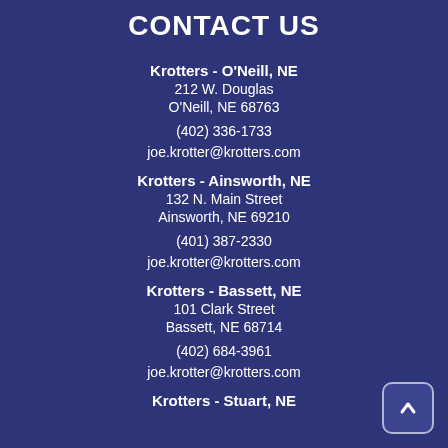CONTACT US
Krotters - O'Neill, NE
212 W. Douglas
O'Neill, NE 68763
(402) 336-1733
joe.krotter@krotters.com
Krotters - Ainsworth, NE
132 N. Main Street
Ainsworth, NE 69210
(401) 387-2330
joe.krotter@krotters.com
Krotters - Bassett, NE
101 Clark Street
Bassett, NE 68714
(402) 684-3961
joe.krotter@krotters.com
Krotters - Stuart, NE